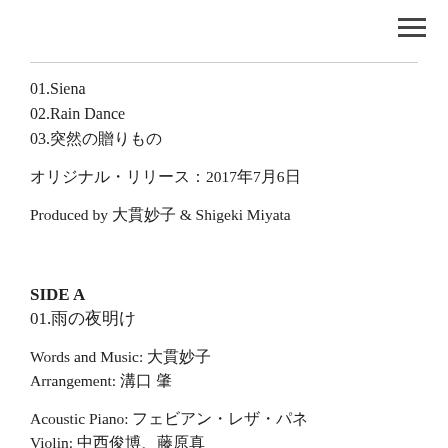01.Siena
02.Rain Dance
03.突然の贈りもの
オリジナル・リリース：2017年7月6日
Produced by 大貫妙子 & Shigeki Miyata
SIDE A
01.雨の夜明け
Words and Music: 大貫妙子
Arrangement: 溝口 肇
Acoustic Piano: フェビアン・レザ・パネ
Violin: 中西俊博、藤原真
Viola: 久保田明宏